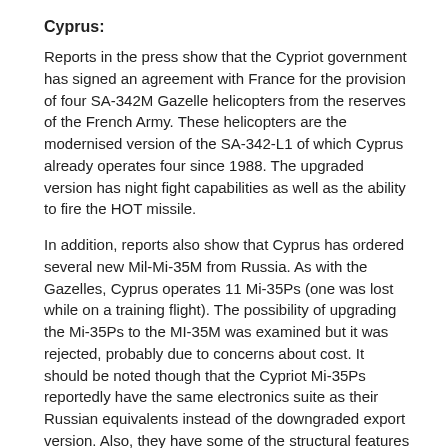Cyprus:
Reports in the press show that the Cypriot government has signed an agreement with France for the provision of four SA-342M Gazelle helicopters from the reserves of the French Army. These helicopters are the modernised version of the SA-342-L1 of which Cyprus already operates four since 1988. The upgraded version has night fight capabilities as well as the ability to fire the HOT missile.
In addition, reports also show that Cyprus has ordered several new Mil-Mi-35M from Russia. As with the Gazelles, Cyprus operates 11 Mi-35Ps (one was lost while on a training flight). The possibility of upgrading the Mi-35Ps to the MI-35M was examined but it was rejected, probably due to concerns about cost. It should be noted though that the Cypriot Mi-35Ps reportedly have the same electronics suite as their Russian equivalents instead of the downgraded export version. Also, they have some of the structural features of the Mi-35M version.
Greece:
1st May 2018 – The Greek government has published the agreement with the U.S. government for the upgrade of 85 F-16s